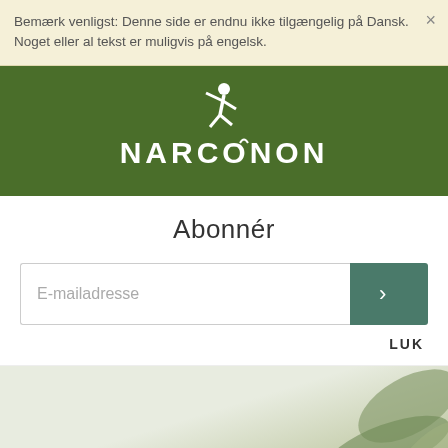Bemærk venligst: Denne side er endnu ikke tilgængelig på Dansk. Noget eller al tekst er muligvis på engelsk.
[Figure (logo): Narconon logo — white stylized jumping figure above the word NARCONON in white capital letters, on a dark green background]
Abonnér
[Figure (screenshot): Email subscription form with placeholder text 'E-mailadresse' and a dark teal submit button with a right-arrow chevron (›)]
LUK
[Figure (photo): Background photo of leaves/foliage in muted green and grey tones, partially visible at bottom of page]